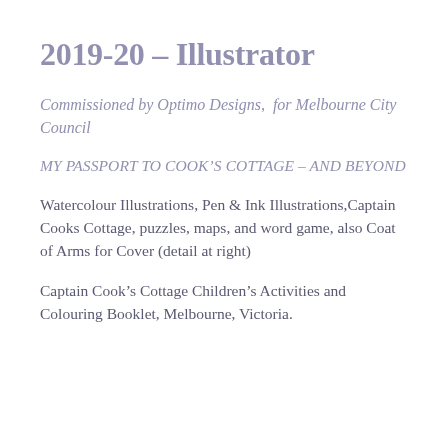2019-20 – Illustrator
Commissioned by Optimo Designs,  for Melbourne City Council
MY PASSPORT TO COOK'S COTTAGE – AND BEYOND
Watercolour Illustrations, Pen & Ink Illustrations,Captain Cooks Cottage, puzzles, maps, and word game, also Coat of Arms for Cover (detail at right)
Captain Cook's Cottage Children's Activities and Colouring Booklet, Melbourne, Victoria.